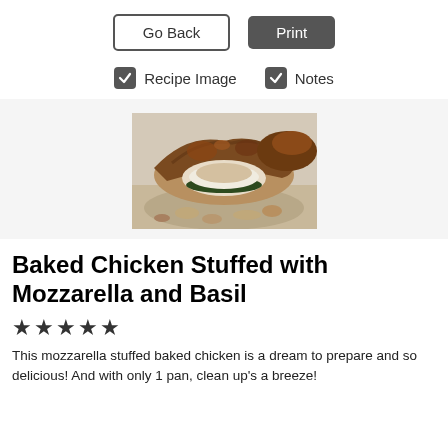[Figure (other): Go Back and Print buttons in the top navigation bar]
[Figure (other): Recipe Image and Notes checkboxes]
[Figure (photo): Photo of Baked Chicken Stuffed with Mozzarella and Basil - sliced chicken showing cheese and herb filling]
Baked Chicken Stuffed with Mozzarella and Basil
★★★★★
This mozzarella stuffed baked chicken is a dream to prepare and so delicious! And with only 1 pan, clean up's a breeze!